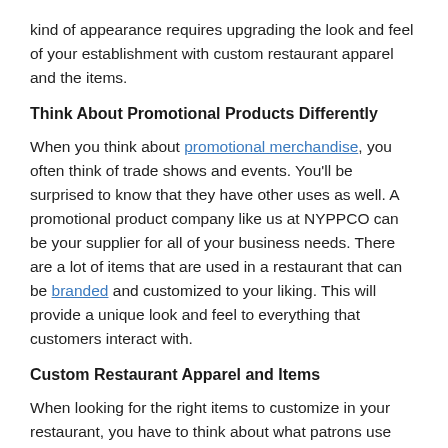kind of appearance requires upgrading the look and feel of your establishment with custom restaurant apparel and the items.
Think About Promotional Products Differently
When you think about promotional merchandise, you often think of trade shows and events. You'll be surprised to know that they have other uses as well. A promotional product company like us at NYPPCO can be your supplier for all of your business needs. There are a lot of items that are used in a restaurant that can be branded and customized to your liking. This will provide a unique look and feel to everything that customers interact with.
Custom Restaurant Apparel and Items
When looking for the right items to customize in your restaurant, you have to think about what patrons use and see the most. Here are a few things we think would look perfect with your logo on it:
Glassware – Custom glassware is a must for any restaurant.